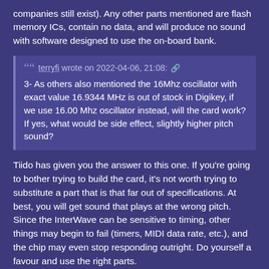companies still exist). Any other parts mentioned are flash memory ICs, contain no data, and will produce no sound with software designed to use the on-board bank.
terryfi wrote on 2022-04-06, 21:08: 3- As others also mentioned the 16Mhz oscillator with exact value 16.9344 MHz is out of stock in Digikey, if we use 16.00 Mhz oscillator instead, will the card work? If yes, what would be side effect, slightly higher pitch sound?
Tiido has given you the answer to this one. If you're going to bother trying to build the card, it's not worth trying to substitute a part that is that far out of specifications. At best, you will get sound that plays at the wrong pitch. Since the InterWave can be sensitive to timing, other things may begin to fail (timers, MIDI data rate, etc.), and the chip may even stop responding outright. Do yourself a favour and use the right parts.